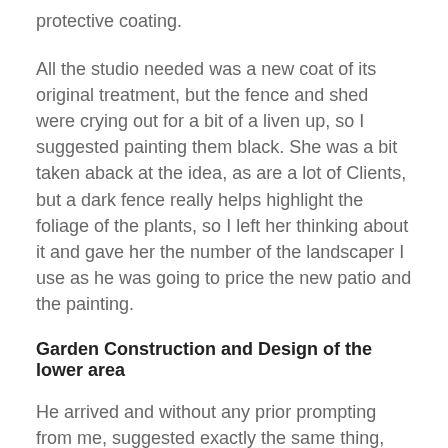protective coating.
All the studio needed was a new coat of its original treatment, but the fence and shed were crying out for a bit of a liven up, so I suggested painting them black. She was a bit taken aback at the idea, as are a lot of Clients, but a dark fence really helps highlight the foliage of the plants, so I left her thinking about it and gave her the number of the landscaper I use as he was going to price the new patio and the painting.
Garden Construction and Design of the lower area
He arrived and without any prior prompting from me, suggested exactly the same thing, that she paint the fence and shed black! She somewhat reluctantly agreed to them being painted black, but was delighted with the outcome and was really pleased she gave in to us